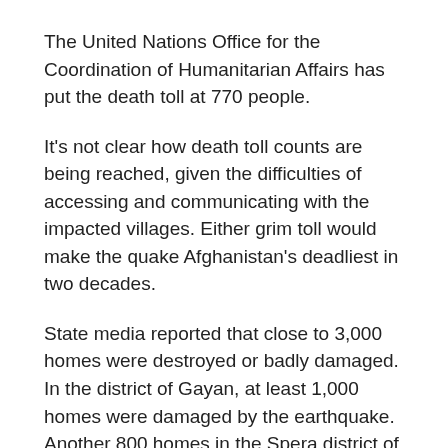The United Nations Office for the Coordination of Humanitarian Affairs has put the death toll at 770 people.
It's not clear how death toll counts are being reached, given the difficulties of accessing and communicating with the impacted villages. Either grim toll would make the quake Afghanistan's deadliest in two decades.
State media reported that close to 3,000 homes were destroyed or badly damaged. In the district of Gayan, at least 1,000 homes were damaged by the earthquake. Another 800 homes in the Spera district of Khost province were also damaged.